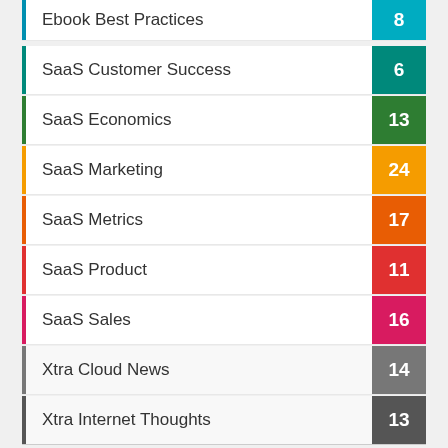Ebook Best Practices
SaaS Customer Success
SaaS Economics
SaaS Marketing
SaaS Metrics
SaaS Product
SaaS Sales
Xtra Cloud News
Xtra Internet Thoughts
Recent Comments